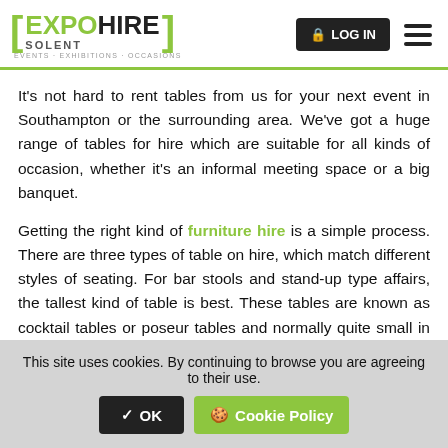EXPO HIRE SOLENT — EVENTS · EXHIBITIONS · OCCASIONS | LOG IN
It's not hard to rent tables from us for your next event in Southampton or the surrounding area. We've got a huge range of tables for hire which are suitable for all kinds of occasion, whether it's an informal meeting space or a big banquet.

Getting the right kind of furniture hire is a simple process. There are three types of table on hire, which match different styles of seating. For bar stools and stand-up type affairs, the tallest kind of table is best. These tables are known as cocktail tables or poseur tables and normally quite small in diameter helping to maximise space. For placed
This site uses cookies. By continuing to browse you are agreeing to their use.
✔ OK   🍪 Cookie Policy